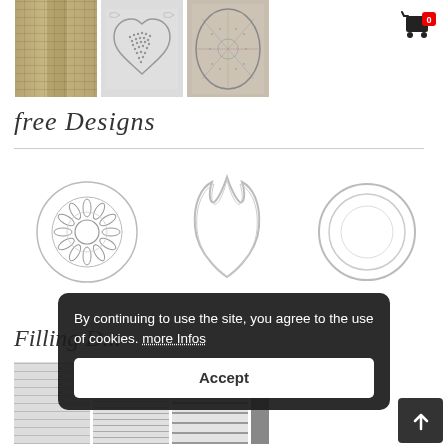[Figure (photo): Three product images: a fabric/cross-stitch texture, an embroidered heart design, and a circular lace/oval embroidery design]
[Figure (illustration): Shopping cart icon with red badge showing 0]
free Designs
[Figure (illustration): Three embroidery outline designs: a sunflower in circle, a tulip/flower shape, and a simple circle]
Filling D...
[Figure (photo): Three filling stitch texture samples]
By continuing to use the site, you agree to the use of cookies. more Infos
Accept
[Figure (illustration): Scroll to top button with upward arrow]